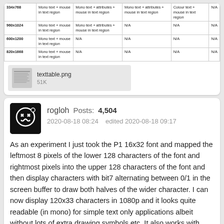|  | Col1 | Col2 | Col3 | Col4 | Col5 |
| --- | --- | --- | --- | --- | --- |
| 334x768 | Mono text + mouse in text region | Mono text + attributes + mouse in text region | Mono text + attributes + mouse in text region | Colour text + mouse in text region | N/A |
| 960x1024 | Mono text + mouse in text region | Mono text + attributes + mouse in text region | N/A | N/A | N/A |
| 600x1200 | Mono text + mouse in text region | N/A | N/A | N/A | N/A |
| 820x1668 | Mono text + mouse in text region | N/A | N/A | N/A | N/A |
[Figure (screenshot): Thumbnail of texttable.png attachment]
texttable.png
51K
rogloh   Posts: 4,504
2020-08-18 08:24   edited 2020-08-18 09:17
As an experiment I just took the P1 16x32 font and mapped the leftmost 8 pixels of the lower 128 characters of the font and rightmost pixels into the upper 128 characters of the font and then display characters with bit7 alternating between 0/1 in the screen buffer to draw both halves of the wider character. I can now display 120x33 characters in 1080p and it looks quite readable (in mono) for simple text only applications albeit without lots of extra drawing symbols etc. It also works with pixel doubling and line